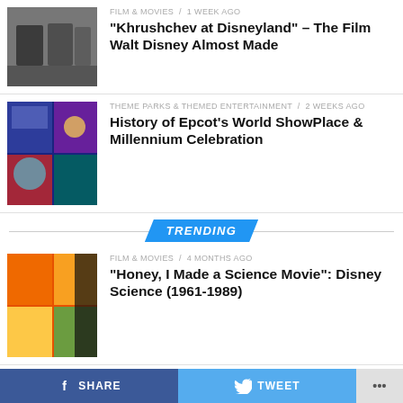[Figure (photo): Black and white photo of people in suits]
FILM & MOVIES / 1 week ago
“Khrushchev at Disneyland” – The Film Walt Disney Almost Made
[Figure (photo): Collage of Epcot themed entertainment photos]
THEME PARKS & THEMED ENTERTAINMENT / 2 weeks ago
History of Epcot’s World ShowPlace & Millennium Celebration
TRENDING
[Figure (photo): Collage of Disney science movie posters and books]
FILM & MOVIES / 4 months ago
“Honey, I Made a Science Movie”: Disney Science (1961-1989)
[Figure (photo): Pluto Disney Big Figure toy statue]
MERCHANDISE / 18 years ago
Disney Big Figures: Where They Began, Where They Are Now and Where Are They Going?
SHARE   TWEET   ...